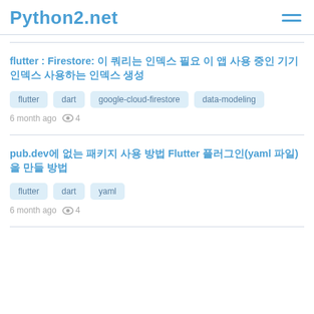Python2.net
flutter : Firestore: 이 쿼리는 인덱스 필요 이 앱 사용 중인 기기 인덱스 사용하는 인덱스 생성
flutter
dart
google-cloud-firestore
data-modeling
6 month ago  👁 4
pub.dev에 없는 패키지 사용 방법 Flutter 플러그인(yaml 파일)을 만들 방법
flutter
dart
yaml
6 month ago  👁 4